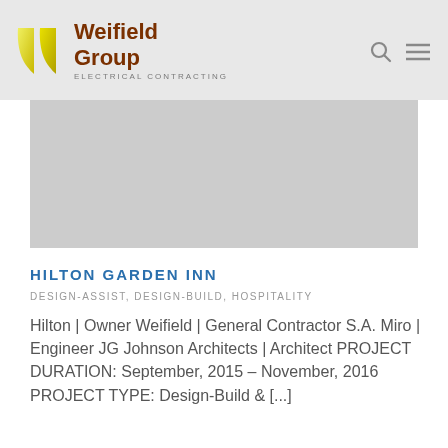Weifield Group ELECTRICAL CONTRACTING
[Figure (photo): Gray image placeholder area representing a project photo for Hilton Garden Inn]
HILTON GARDEN INN
DESIGN-ASSIST, DESIGN-BUILD, HOSPITALITY
Hilton | Owner Weifield | General Contractor S.A. Miro | Engineer JG Johnson Architects | Architect PROJECT DURATION: September, 2015 – November, 2016 PROJECT TYPE: Design-Build & [...]